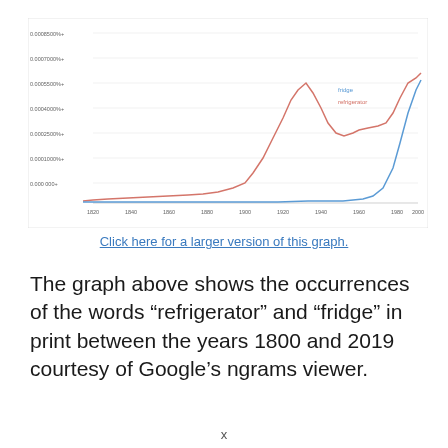[Figure (continuous-plot): Line chart showing occurrences of 'refrigerator' (red/salmon line) and 'fridge' (blue line) in print from 1800 to 2019. The refrigerator line peaks around 1940s–1950s, dips, then rises again near 2019. The fridge line stays near zero until a sharp rise near 2000–2019.]
Click here for a larger version of this graph.
The graph above shows the occurrences of the words “refrigerator” and “fridge” in print between the years 1800 and 2019 courtesy of Google’s ngrams viewer.